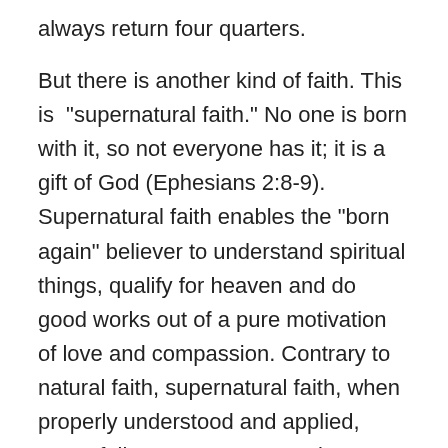always return four quarters.
But there is another kind of faith. This is “supernatural faith.” No one is born with it, so not everyone has it; it is a gift of God (Ephesians 2:8-9). Supernatural faith enables the “born again” believer to understand spiritual things, qualify for heaven and do good works out of a pure motivation of love and compassion. Contrary to natural faith, supernatural faith, when properly understood and applied, never fails. For a more complete treatment of the meaning of “born again”, click HERE.
If we keep these two different kinds of faith in mind as we examine the relevant Bible passages about faith and works, we will see that the teachings of Jesus, James and Paul are really not contradictory at all, but are, instead, complementary. So, here we go…